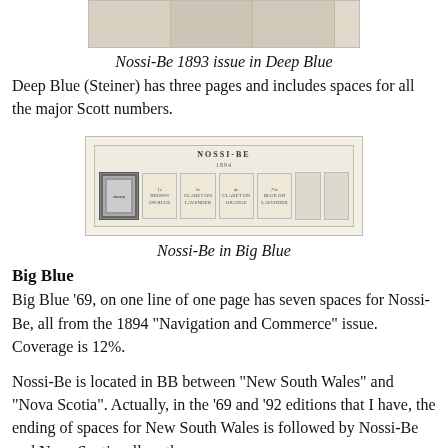[Figure (photo): Partial view of stamp album page showing Nossi-Be 1893 issue stamps in Deep Blue album, top portion visible]
Nossi-Be 1893 issue in Deep Blue
Deep Blue (Steiner) has three pages and includes spaces for all the major Scott numbers.
[Figure (photo): Stamp album page labeled NOSSI-BE showing Big Blue album page with one row of stamp spaces, including one stamp affixed and several empty spaces with descriptions]
Nossi-Be in Big Blue
Big Blue
Big Blue '69, on one line of one page has seven spaces for Nossi-Be, all from the 1894 "Navigation and Commerce" issue. Coverage is 12%.
Nossi-Be is located in BB between "New South Wales" and "Nova Scotia". Actually, in the '69 and '92 editions that I have, the ending of spaces for New South Wales is followed by Nossi-Be and Nova Scotia, all on the same page.
The good news for BB collectors is that none of the